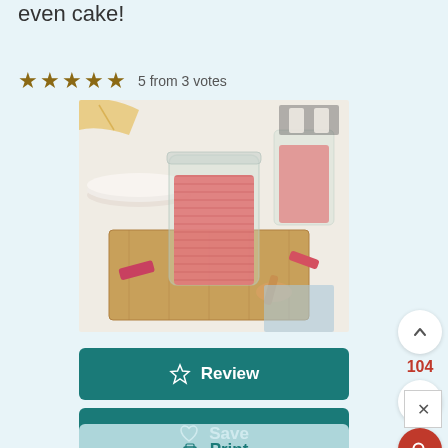even cake!
5 from 3 votes
[Figure (photo): A glass mason jar filled with pink rhubarb compote/sauce, sitting on a wooden cutting board. Additional jars visible in background. Rhubarb pieces and a wooden spoon nearby on a white marble surface.]
Review
Save
Print
104